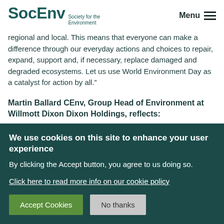SocEnv Society for the Environment | Menu
regional and local. This means that everyone can make a difference through our everyday actions and choices to repair, expand, support and, if necessary, replace damaged and degraded ecosystems. Let us use World Environment Day as a catalyst for action by all.”
Martin Ballard CEnv, Group Head of Environment at Willmott Dixon Holdings, reflects:
“Despite the challenges for nature, 2020 shows that there’s hope we can
We use cookies on this site to enhance your user experience
By clicking the Accept button, you agree to us doing so.

Click here to read more info on our cookie policy

Accept Cookies | No thanks